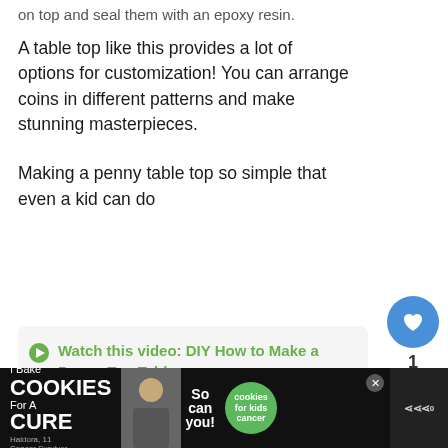on top and seal them with an epoxy resin.
A table top like this provides a lot of options for customization! You can arrange coins in different patterns and make stunning masterpieces.
Making a penny table top so simple that even a kid can do
Watch this video: DIY How to Make a Penny Top Table
[Figure (infographic): What's Next panel with thumbnail and text '25 Types of Dracaena...' with arrow]
[Figure (infographic): Advertisement banner: I Bake COOKIES For A CURE - Haldora, 11 Cancer Survivor - So can you! - cookies for kids cancer]